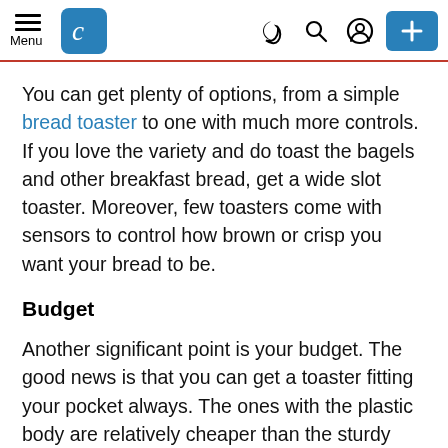Menu [hamburger icon] [C logo] [dark mode icon] [search icon] [account icon] [+ button]
You can get plenty of options, from a simple bread toaster to one with much more controls. If you love the variety and do toast the bagels and other breakfast bread, get a wide slot toaster. Moreover, few toasters come with sensors to control how brown or crisp you want your bread to be.
Budget
Another significant point is your budget. The good news is that you can get a toaster fitting your pocket always. The ones with the plastic body are relatively cheaper than the sturdy stainless steel